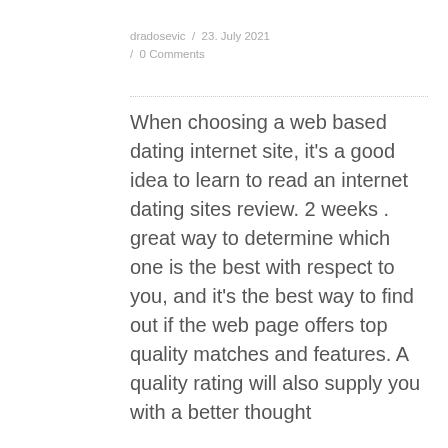dradosevic / 23. July 2021 / 0 Comments
When choosing a web based dating internet site, it's a good idea to learn to read an internet dating sites review. 2 weeks . great way to determine which one is the best with respect to you, and it's the best way to find out if the web page offers top quality matches and features. A quality rating will also supply you with a better thought